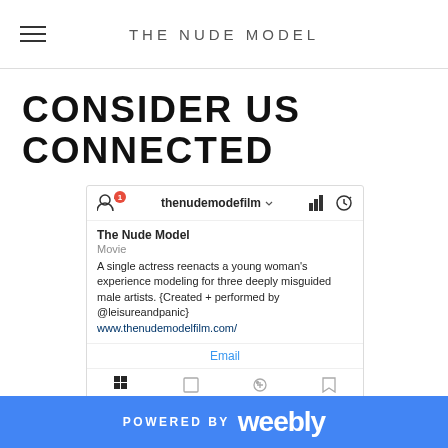THE NUDE MODEL
CONSIDER US CONNECTED
[Figure (screenshot): Instagram profile screenshot for thenudemodefilm showing profile info, bio, email button, tab navigation, and photo grid with film stills]
POWERED BY weebly